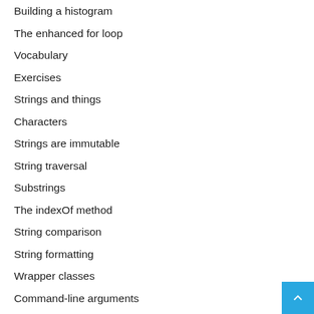Building a histogram
The enhanced for loop
Vocabulary
Exercises
Strings and things
Characters
Strings are immutable
String traversal
Substrings
The indexOf method
String comparison
String formatting
Wrapper classes
Command-line arguments
Vocabulary
Exercises
Objects
Point objects